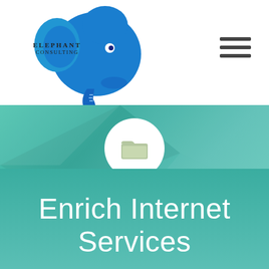[Figure (logo): Elephant Consulting logo: blue elephant head silhouette with text ELEPHANT CONSULTING]
[Figure (illustration): Hamburger menu icon: three horizontal dark lines stacked]
[Figure (illustration): Teal/green geometric polygon hero background with white circle icon containing a green folder icon]
Enrich Internet Services